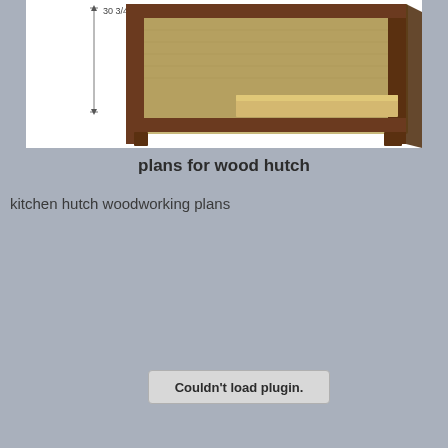[Figure (engineering-diagram): 3D rendering of a wood hutch cabinet with brown wood frame, tan/beige back panel, and a lighter wood shelf insert. A dimension annotation reads '30 3/4"' with a vertical measurement arrow on the left side.]
plans for wood hutch
kitchen hutch woodworking plans
Couldn't load plugin.